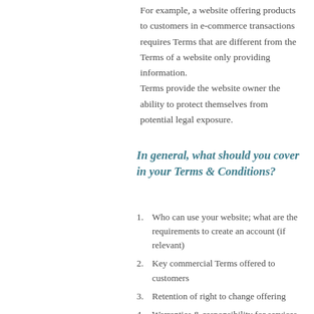For example, a website offering products to customers in e-commerce transactions requires Terms that are different from the Terms of a website only providing information.
Terms provide the website owner the ability to protect themselves from potential legal exposure.
In general, what should you cover in your Terms & Conditions?
Who can use your website; what are the requirements to create an account (if relevant)
Key commercial Terms offered to customers
Retention of right to change offering
Warranties & responsibility for services